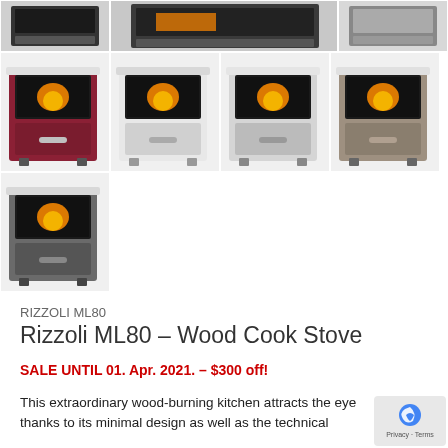[Figure (photo): Grid of product photos showing Rizzoli ML80 wood cook stove in multiple color variants: top row partial crops, middle row showing burgundy/red, white, light grey, and taupe variants, bottom row showing dark grey variant]
RIZZOLI ML80
Rizzoli ML80 – Wood Cook Stove
SALE UNTIL 01. Apr. 2021. – $300 off!
This extraordinary wood-burning kitchen attracts the eye thanks to its minimal design as well as the technical